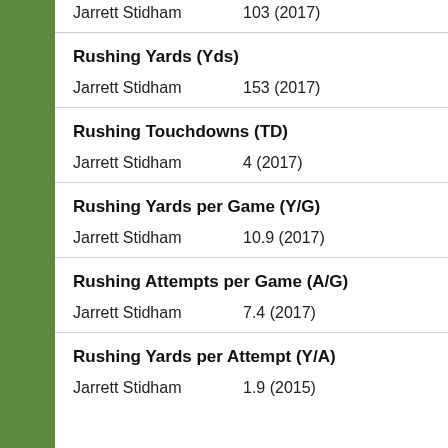Jarrett Stidham   103 (2017)
Rushing Yards (Yds)
Jarrett Stidham   153 (2017)
Rushing Touchdowns (TD)
Jarrett Stidham   4 (2017)
Rushing Yards per Game (Y/G)
Jarrett Stidham   10.9 (2017)
Rushing Attempts per Game (A/G)
Jarrett Stidham   7.4 (2017)
Rushing Yards per Attempt (Y/A)
Jarrett Stidham   1.9 (2015)